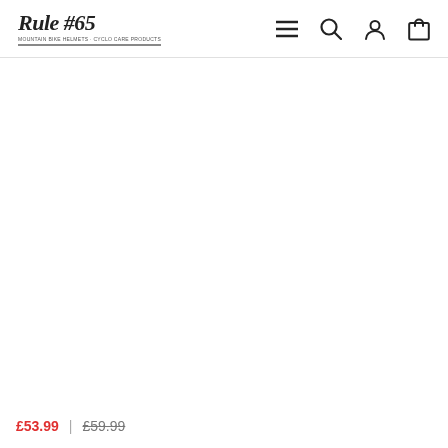Rule #65 — navigation header with logo, menu, search, account, and cart icons
£53.99  £59.99